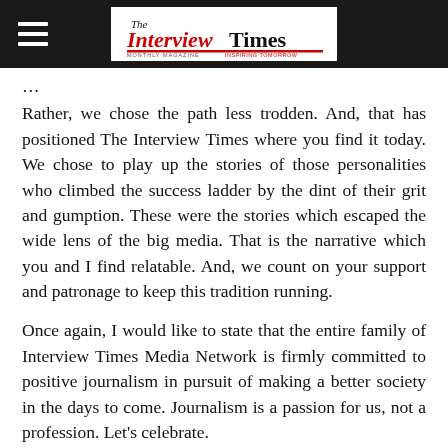The Interview Times
Rather, we chose the path less trodden. And, that has positioned The Interview Times where you find it today. We chose to play up the stories of those personalities who climbed the success ladder by the dint of their grit and gumption. These were the stories which escaped the wide lens of the big media. That is the narrative which you and I find relatable. And, we count on your support and patronage to keep this tradition running.
Once again, I would like to state that the entire family of Interview Times Media Network is firmly committed to positive journalism in pursuit of making a better society in the days to come. Journalism is a passion for us, not a profession. Let’s celebrate.